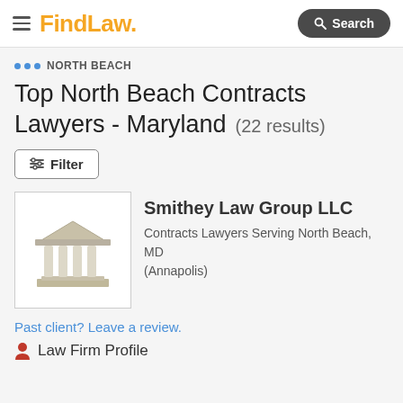FindLaw
NORTH BEACH
Top North Beach Contracts Lawyers - Maryland (22 results)
Filter
Smithey Law Group LLC
Contracts Lawyers Serving North Beach, MD (Annapolis)
Past client? Leave a review.
Law Firm Profile